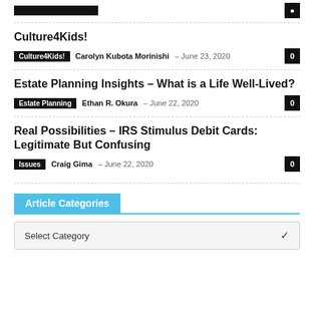Culture4Kids!
Culture4Kids!  Carolyn Kubota Morinishi – June 23, 2020  0
Estate Planning Insights – What is a Life Well-Lived?
Estate Planning  Ethan R. Okura – June 22, 2020  0
Real Possibilities – IRS Stimulus Debit Cards: Legitimate But Confusing
Issues  Craig Gima – June 22, 2020  0
Article Categories
Select Category